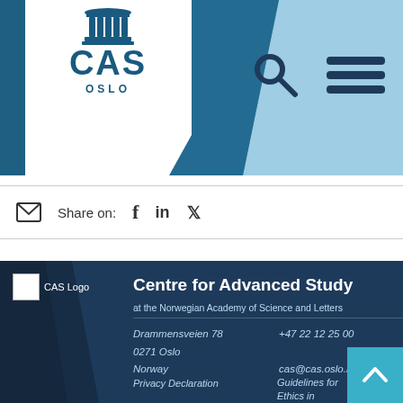[Figure (logo): CAS Oslo logo with pillar/column icon, blue text reading CAS and OSLO]
[Figure (infographic): Navigation header with search icon (magnifying glass) and hamburger menu icon on light blue background]
Share on: f in y (email, Facebook, LinkedIn, Twitter share icons)
[Figure (logo): CAS Logo placeholder image in footer]
Centre for Advanced Study
at the Norwegian Academy of Science and Letters
Drammensveien 78
0271 Oslo
Norway
+47 22 12 25 00
cas@cas.oslo.no
Privacy Declaration
Guidelines for Ethics in Research